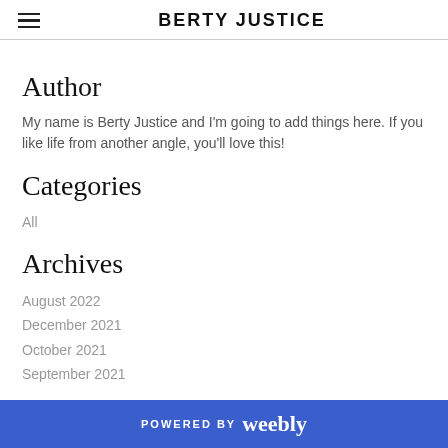BERTY JUSTICE
Author
My name is Berty Justice and I'm going to add things here. If you like life from another angle, you'll love this!
Categories
All
Archives
August 2022
December 2021
October 2021
September 2021
POWERED BY weebly